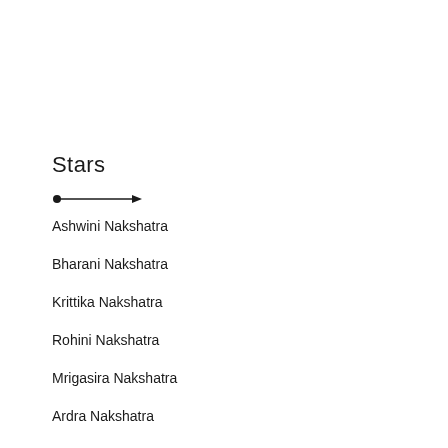Stars
[Figure (other): A horizontal arrow pointing right, with a filled circle at the left end]
Ashwini Nakshatra
Bharani Nakshatra
Krittika Nakshatra
Rohini Nakshatra
Mrigasira Nakshatra
Ardra Nakshatra
Punarvasu Nakshatra